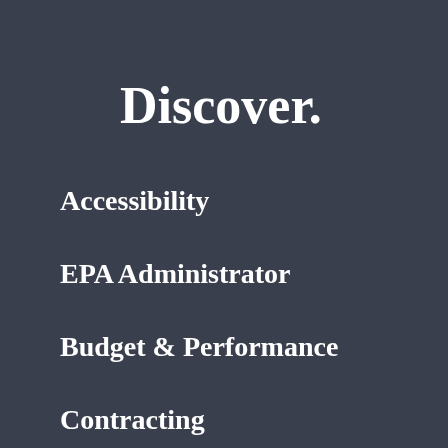Discover.
Accessibility
EPA Administrator
Budget & Performance
Contracting
Grants
No FEAR Act Data